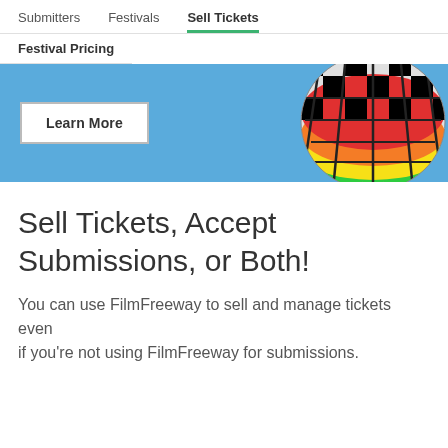Submitters   Festivals   Sell Tickets
Festival Pricing
[Figure (screenshot): Blue banner with a 'Learn More' button on the left and a colorful hot air balloon illustration on the right]
Sell Tickets, Accept Submissions, or Both!
You can use FilmFreeway to sell and manage tickets even
if you're not using FilmFreeway for submissions.